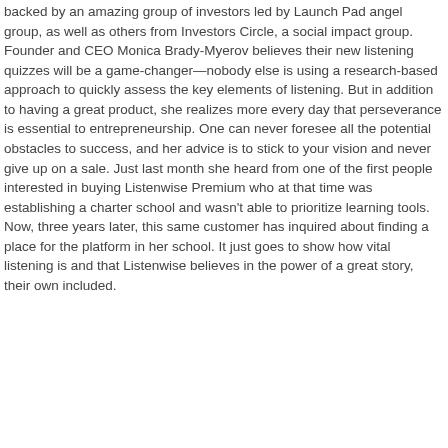backed by an amazing group of investors led by Launch Pad angel group, as well as others from Investors Circle, a social impact group. Founder and CEO Monica Brady-Myerov believes their new listening quizzes will be a game-changer—nobody else is using a research-based approach to quickly assess the key elements of listening. But in addition to having a great product, she realizes more every day that perseverance is essential to entrepreneurship. One can never foresee all the potential obstacles to success, and her advice is to stick to your vision and never give up on a sale. Just last month she heard from one of the first people interested in buying Listenwise Premium who at that time was establishing a charter school and wasn't able to prioritize learning tools. Now, three years later, this same customer has inquired about finding a place for the platform in her school. It just goes to show how vital listening is and that Listenwise believes in the power of a great story, their own included.